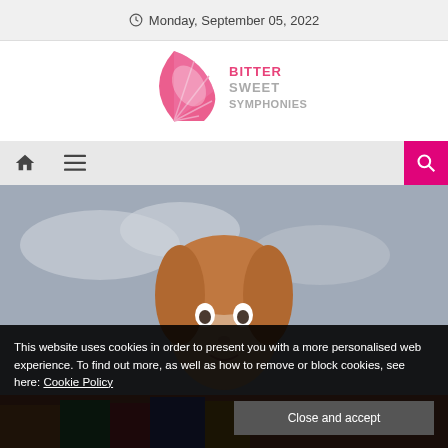Monday, September 05, 2022
[Figure (logo): Bittersweet Symphonies logo — pink lemon slice with text BITTER SWEET SYMPHONIES in grey]
[Figure (photo): Photo of a doll head against a sky background, partially obscured by cookie consent banner]
This website uses cookies in order to present you with a more personalised web experience. To find out more, as well as how to remove or block cookies, see here: Cookie Policy
Close and accept